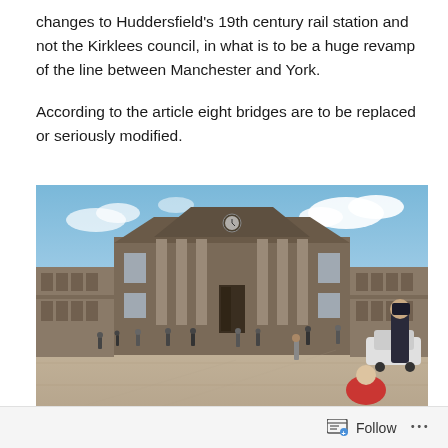changes to Huddersfield's 19th century rail station and not the Kirklees council, in what is to be a huge revamp of the line between Manchester and York.
According to the article eight bridges are to be replaced or seriously modified.
[Figure (photo): Photograph of Huddersfield railway station, a grand 19th century neoclassical stone building with large columns and a triangular pediment with a clock. People are walking in the forecourt. Blue sky with clouds in the background.]
Follow ...